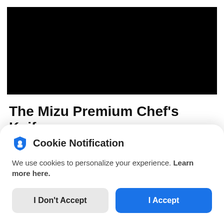[Figure (photo): Black rectangle representing a product image area]
The Mizu Premium Chef’s Knife
As you may know, a sharp knife is, in fact,
Cookie Notification
We use cookies to personalize your experience. Learn more here.
I Don’t Accept
I Accept